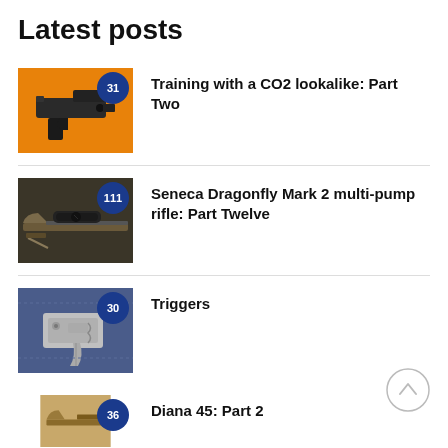Latest posts
Training with a CO2 lookalike: Part Two
Seneca Dragonfly Mark 2 multi-pump rifle: Part Twelve
Triggers
Diana 45: Part 2